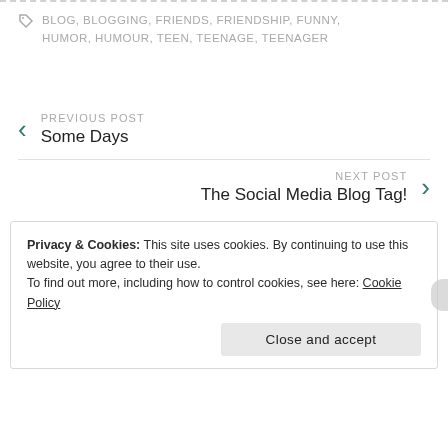BLOG, BLOGGING, FRIENDS, FRIENDSHIP, FUNNY, HUMOR, HUMOUR, TEEN, TEENAGE, TEENAGER
PREVIOUS POST
Some Days
NEXT POST
The Social Media Blog Tag!
Privacy & Cookies: This site uses cookies. By continuing to use this website, you agree to their use.
To find out more, including how to control cookies, see here: Cookie Policy
Close and accept